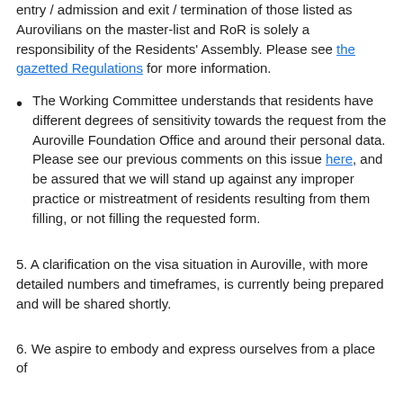entry / admission and exit / termination of those listed as Aurovilians on the master-list and RoR is solely a responsibility of the Residents' Assembly. Please see the gazetted Regulations for more information.
The Working Committee understands that residents have different degrees of sensitivity towards the request from the Auroville Foundation Office and around their personal data. Please see our previous comments on this issue here, and be assured that we will stand up against any improper practice or mistreatment of residents resulting from them filling, or not filling the requested form.
5. A clarification on the visa situation in Auroville, with more detailed numbers and timeframes, is currently being prepared and will be shared shortly.
6. We aspire to embody and express ourselves from a place of